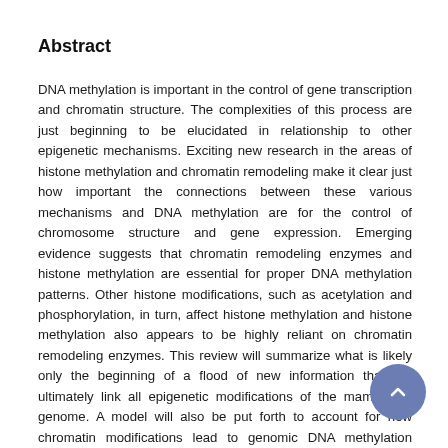Abstract
DNA methylation is important in the control of gene transcription and chromatin structure. The complexities of this process are just beginning to be elucidated in relationship to other epigenetic mechanisms. Exciting new research in the areas of histone methylation and chromatin remodeling make it clear just how important the connections between these various mechanisms and DNA methylation are for the control of chromosome structure and gene expression. Emerging evidence suggests that chromatin remodeling enzymes and histone methylation are essential for proper DNA methylation patterns. Other histone modifications, such as acetylation and phosphorylation, in turn, affect histone methylation and histone methylation also appears to be highly reliant on chromatin remodeling enzymes. This review will summarize what is likely only the beginning of a flood of new information that will ultimately link all epigenetic modifications of the mammalian genome. A model will also be put forth to account for how chromatin modifications lead to genomic DNA methylation patterns.